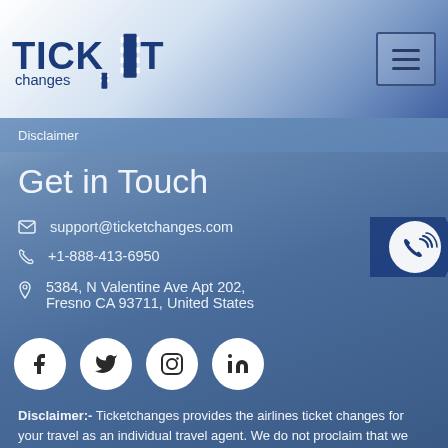TicketChanges logo and navigation
Disclaimer
Get in Touch
support@ticketchanges.com
+1-888-413-6950
5384, N Valentine Ave Apt 202, Fresno CA 93711, United States
[Figure (infographic): Social media icons: Facebook, Twitter, Instagram, LinkedIn]
Disclaimer:- Ticketchanges provides the airlines ticket changes for your travel as an individual travel agent. We do not proclaim that we are any individual airlines or any travel service providing firm but we do flight changes for the same as an